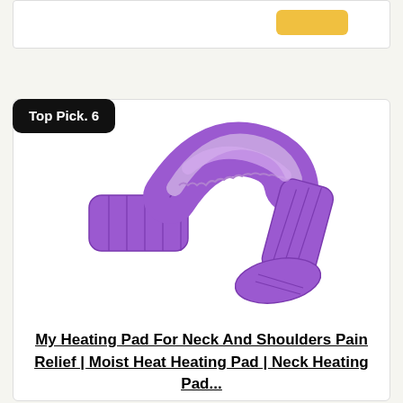[Figure (screenshot): Top portion of a product card showing a partial yellow/gold buy button on a white card background]
Top Pick. 6
[Figure (photo): Purple neck and shoulder heating pad shaped in a U/wrap configuration, showing quilted sections on both the flat purple fabric side and a textured sherpa-like side]
My Heating Pad For Neck And Shoulders Pain Relief | Moist Heat Heating Pad | Neck Heating Pad...